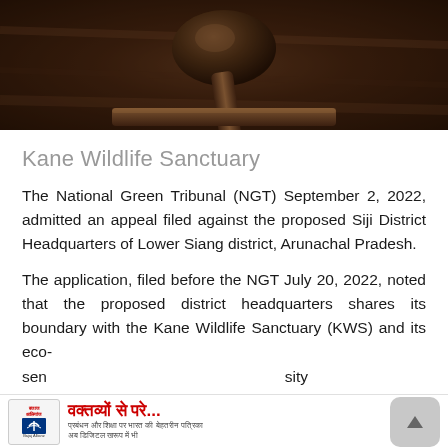[Figure (photo): Close-up photo of a judge's gavel on a wooden surface, dark brown tones]
Kane Wildlife Sanctuary
The National Green Tribunal (NGT) September 2, 2022, admitted an appeal filed against the proposed Siji District Headquarters of Lower Siang district, Arunachal Pradesh.
The application, filed before the NGT July 20, 2022, noted that the proposed district headquarters shares its boundary with the Kane Wildlife Sanctuary (KWS) and its eco-sensitivity and also
[Figure (other): Advertisement banner with Hindi text 'वक्तव्यों से परे...' in red, with an insurance company logo and small Hindi subtext]